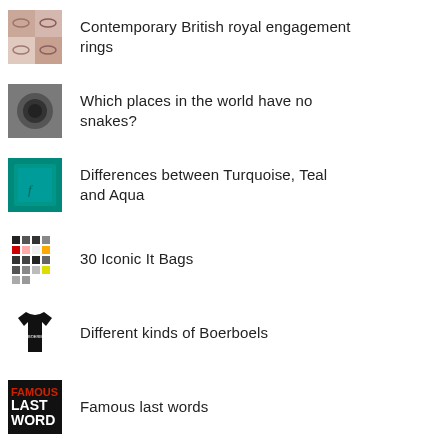Contemporary British royal engagement rings
Which places in the world have no snakes?
Differences between Turquoise, Teal and Aqua
30 Iconic It Bags
Different kinds of Boerboels
Famous last words